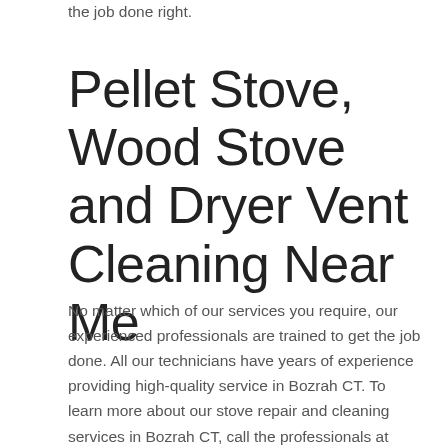the job done right.
Pellet Stove, Wood Stove and Dryer Vent Cleaning Near Me
No matter which of our services you require, our experienced professionals are trained to get the job done. All our technicians have years of experience providing high-quality service in Bozrah CT. To learn more about our stove repair and cleaning services in Bozrah CT, call the professionals at Integrity Heat today to set up a free consultation.